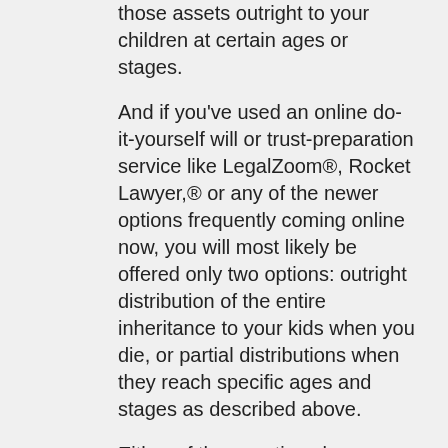those assets outright to your children at certain ages or stages.
And if you've used an online do-it-yourself will or trust-preparation service like LegalZoom®, Rocket Lawyer,® or any of the newer options frequently coming online now, you will most likely be offered only two options: outright distribution of the entire inheritance to your kids when you die, or partial distributions when they reach specific ages and stages as described above.
Either of those options leaves their inheritance—and your hard-earned